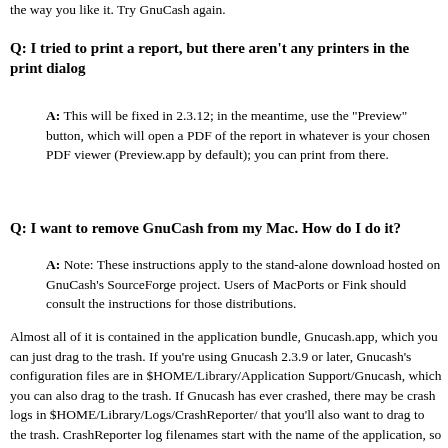the way you like it. Try GnuCash again.
Q: I tried to print a report, but there aren't any printers in the print dialog
A: This will be fixed in 2.3.12; in the meantime, use the "Preview" button, which will open a PDF of the report in whatever is your chosen PDF viewer (Preview.app by default); you can print from there.
Q: I want to remove GnuCash from my Mac. How do I do it?
A: Note: These instructions apply to the stand-alone download hosted on GnuCash's SourceForge project. Users of MacPorts or Fink should consult the instructions for those distributions.
Almost all of it is contained in the application bundle, Gnucash.app, which you can just drag to the trash. If you're using Gnucash 2.3.9 or later, Gnucash's configuration files are in $HOME/Library/Application Support/Gnucash, which you can also drag to the trash. If Gnucash has ever crashed, there may be crash logs in $HOME/Library/Logs/CrashReporter/ that you'll also want to drag to the trash. CrashReporter log filenames start with the name of the application, so the